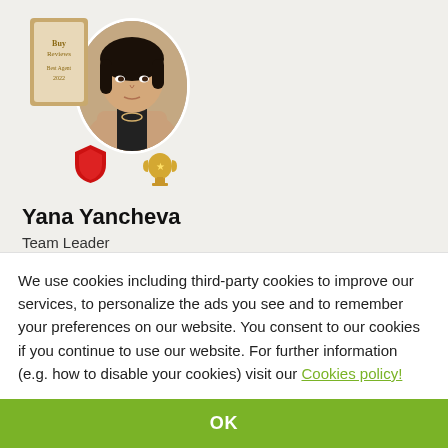[Figure (photo): Profile page showing a woman with dark hair wearing a beige blazer. Award badge and trophy icon shown. Red shield and gold trophy overlays.]
Yana Yancheva
Team Leader
Office SUPRIMMO Headquarters, Sofia
BUSINESS PROFILE   ALL LISTINGS (108)
+359 88...show number
+359 2 ...show number
We use cookies including third-party cookies to improve our services, to personalize the ads you see and to remember your preferences on our website. You consent to our cookies if you continue to use our website. For further information (e.g. how to disable your cookies) visit our Cookies policy!
OK